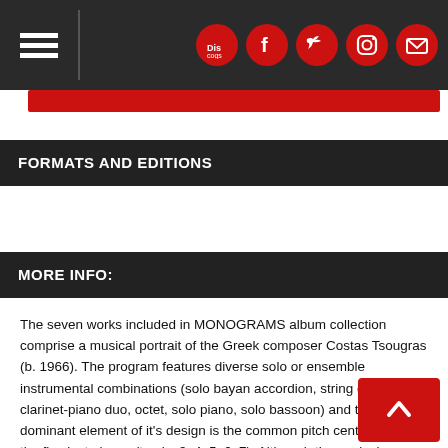Navigation header with hamburger menu and social icons: Discogs, Facebook, Twitter, Instagram, Email
FORMATS AND EDITIONS
MORE INFO:
The seven works included in MONOGRAMS album collection comprise a musical portrait of the Greek composer Costas Tsougras (b. 1966). The program features diverse solo or ensemble instrumental combinations (solo bayan accordion, string quartet, clarinet-piano duo, octet, solo piano, solo bassoon) and the dominant element of it's design is the common pitch center (C) of the five last pieces (tracks 3, 4, 5, 6, 7). Although the works have been composed independently, as most of them were either friendly commissions by their performers or professional commissions by contemporary music institutions, they can be auditioned and experienced as a tripartite symmetrical multi-